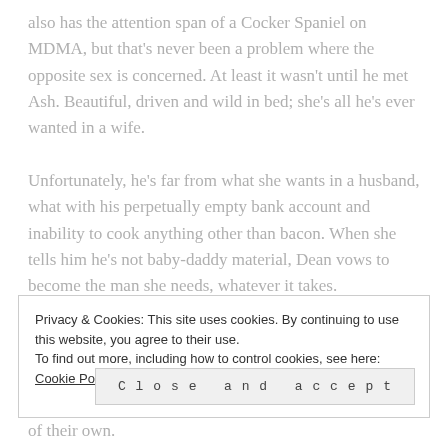also has the attention span of a Cocker Spaniel on MDMA, but that's never been a problem where the opposite sex is concerned. At least it wasn't until he met Ash. Beautiful, driven and wild in bed; she's all he's ever wanted in a wife.
Unfortunately, he's far from what she wants in a husband, what with his perpetually empty bank account and inability to cook anything other than bacon. When she tells him he's not baby-daddy material, Dean vows to become the man she needs, whatever it takes.
Privacy & Cookies: This site uses cookies. By continuing to use this website, you agree to their use.
To find out more, including how to control cookies, see here: Cookie Policy
Close and accept
of their own.